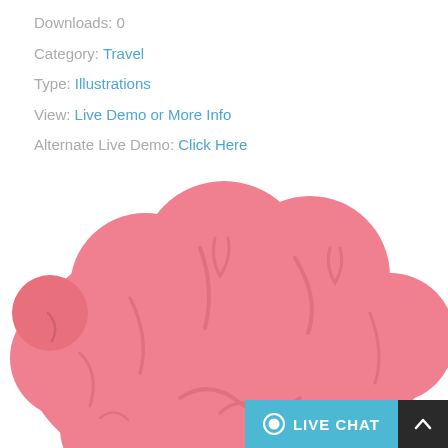Downloads: 0
Category: Travel
Type: Illustrations
View: Live Demo or More Info
Alternate Live Demo: Click Here
[Figure (illustration): Pink brain illustration, cartoon style, shown from front/slightly above, with folded lobes and sulci visible, cropped at bottom]
LIVE CHAT